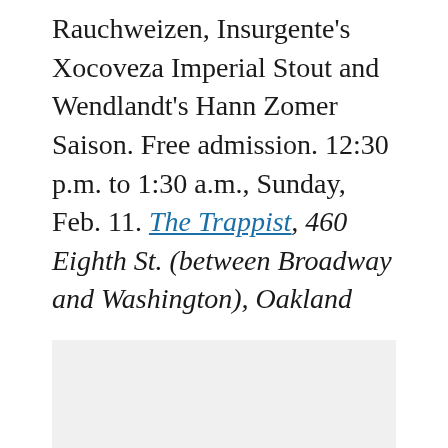Rauchweizen, Insurgente's Xocoveza Imperial Stout and Wendlandt's Hann Zomer Saison. Free admission. 12:30 p.m. to 1:30 a.m., Sunday, Feb. 11. The Trappist, 460 Eighth St. (between Broadway and Washington), Oakland
[Figure (photo): A light gray rectangular image placeholder area]